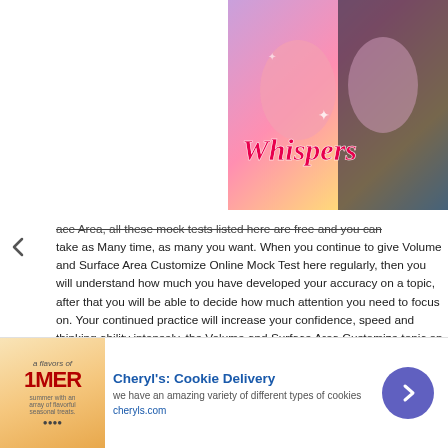[Figure (illustration): Top-right corner: Colorful mobile game advertisement for 'Whispers' with romantic cartoon characters]
ace Area, all these mock tests listed here are free and you can take as Many time, as many you want. When you continue to give Volume and Surface Area Customize Online Mock Test here regularly, then you will understand how much you have developed your accuracy on a topic, after that you will be able to decide how much attention you need to focus on. Your continued practice will increase your confidence, speed and thinking ability intensely, the Volume and Surface Area Customize topic on which you will practice more will beneficial for you in future during campus placement. Volume and Surface Area Mock Tests
Quantitative Aptitude Volume And Surface Area Quiz Online Test
[Figure (screenshot): Bottom advertisement banner for Cheryl's Cookie Delivery with cookie image, text 'we have an amazing variety of different types of cookies', website cheryls.com, and a purple arrow button]